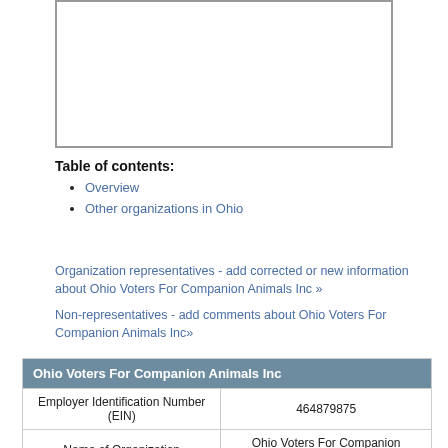[Figure (other): Empty white box with grey border, likely a placeholder for an image or chart]
Table of contents:
Overview
Other organizations in Ohio
Organization representatives - add corrected or new information about Ohio Voters For Companion Animals Inc »
Non-representatives - add comments about Ohio Voters For Companion Animals Inc»
| Ohio Voters For Companion Animals Inc |  |
| --- | --- |
| Employer Identification Number (EIN) | 464879875 |
| Name of Organization | Ohio Voters For Companion Animals Inc |
| In Care of Name | MARY O'CONNOR SHAVER |
| Address | 545 E Town St, Columbus, OH 43215 |